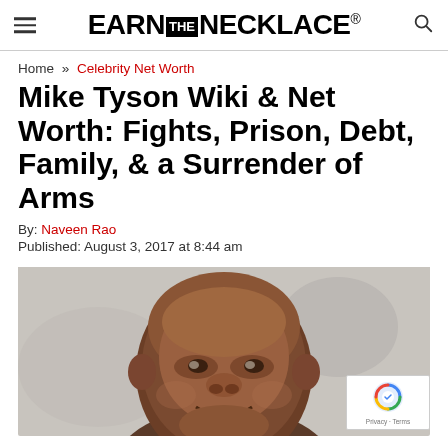EARN THE NECKLACE®
Home » Celebrity Net Worth
Mike Tyson Wiki & Net Worth: Fights, Prison, Debt, Family, & a Surrender of Arms
By: Naveen Rao
Published: August 3, 2017 at 8:44 am
[Figure (photo): Close-up photo of Mike Tyson smiling, bald head, against a light background]